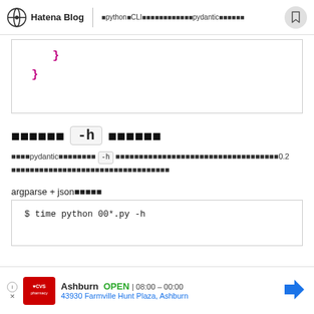Hatena Blog | pythonCLI pydantic
[Figure (screenshot): Code block showing closing braces in magenta/pink color on white background]
オプション -h オプション
次にpydanticのモデルの -h オプションを実行した場合の出力を見てみます。バージョン0.2 のときからの仕様変更点についても説明します。
argparse + jsonのとき
[Figure (screenshot): Code block beginning with: $ time python 00*.py -h]